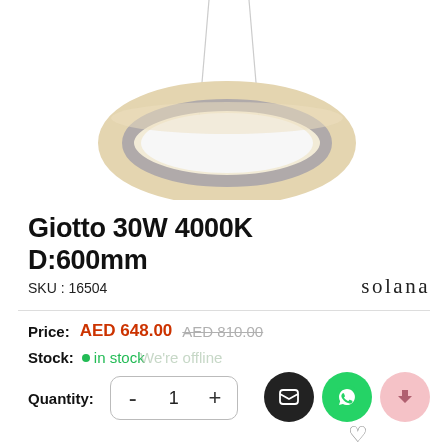[Figure (photo): A round/circular LED pendant light fixture suspended by two thin wires from above. The fixture is a luminous ring with warm white/cream glow on the outer edge and a silver/grey inner ring, photographed on a white background.]
Giotto 30W 4000K D:600mm
SKU : 16504
solana
Price: AED 648.00  AED 810.00
Stock: • in stock
Quantity: - 1 +